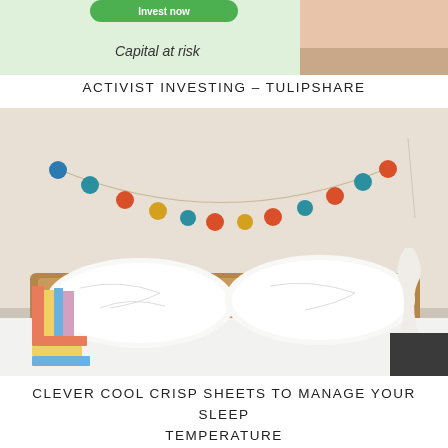[Figure (photo): Partial top image showing a green/light background, partial text reading 'Capital at risk', and what appears to be a smartphone or investment app screenshot]
ACTIVIST INVESTING – TULIPSHARE
[Figure (photo): Bedroom photograph showing a bed with white pillows and white sheets, a wooden headboard, colorful pom-pom garland strung across the wall above, books stacked on the left side, and a wavy white vase on the right side nightstand]
CLEVER COOL CRISP SHEETS TO MANAGE YOUR SLEEP TEMPERATURE